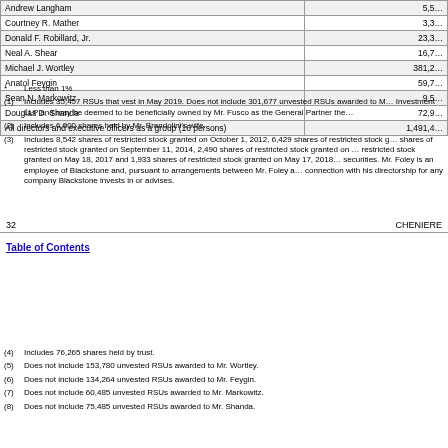| Name | Shares |
| --- | --- |
| Andrew Langham | 5,5… |
| Courtney R. Mather | 3,3… |
| Donald F. Robillard, Jr. | 23,3… |
| Neal A. Shear | 16,7… |
| Michael J. Wortley | 381,2… |
| Anatol Feygin | 59,7… |
| Sean N. Markowitz | 9,5… |
| Douglas D. Shanda | 72,9… |
| All directors and executive officers as a group (16 persons) | 1,491,4… |
* Less than 1%
(1) Includes 35,457 RSUs that vest in May 2019. Does not include 301,677 unvested RSUs awarded to Mr… Investment LLP and may be deemed to be beneficially owned by Mr. Fusco as the General Partner the…
(2) Includes 6,000 shares held by Mr. Brandolini's wife.
(3) Includes 8,542 shares of restricted stock granted on October 1, 2012, 6,429 shares of restricted stock g… shares of restricted stock granted on September 11, 2014, 2,490 shares of restricted stock granted on … restricted stock granted on May 18, 2017 and 1,933 shares of restricted stock granted on May 17, 2018… securities. Mr. Foley is an employee of Blackstone and, pursuant to arrangements between Mr. Foley a… connection with his directorship for any company Blackstone invests in or advises.
32   CHENIERE
Table of Contents
(4) Includes 76,265 shares held by trust.
(5) Does not include 153,780 unvested RSUs awarded to Mr. Wortley.
(6) Does not include 134,264 unvested RSUs awarded to Mr. Feygin.
(7) Does not include 60,485 unvested RSUs awarded to Mr. Markowitz.
(8) Does not include 75,485 unvested RSUs awarded to Mr. Shanda.